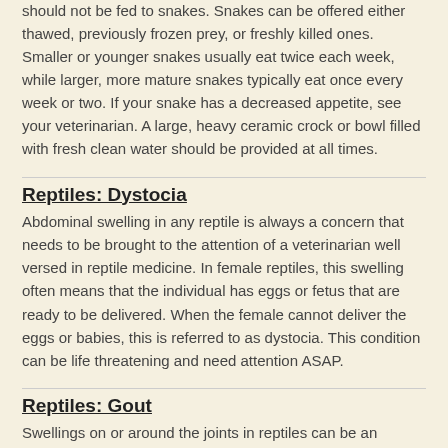should not be fed to snakes. Snakes can be offered either thawed, previously frozen prey, or freshly killed ones. Smaller or younger snakes usually eat twice each week, while larger, more mature snakes typically eat once every week or two. If your snake has a decreased appetite, see your veterinarian. A large, heavy ceramic crock or bowl filled with fresh clean water should be provided at all times.
Reptiles: Dystocia
Abdominal swelling in any reptile is always a concern that needs to be brought to the attention of a veterinarian well versed in reptile medicine. In female reptiles, this swelling often means that the individual has eggs or fetus that are ready to be delivered. When the female cannot deliver the eggs or babies, this is referred to as dystocia. This condition can be life threatening and need attention ASAP.
Reptiles: Gout
Swellings on or around the joints in reptiles can be an indication of uric acid deposits in the area. This condition is referred to as gout. Gout is often painful and may affect internal organs. Treatment will require medications and surgery.